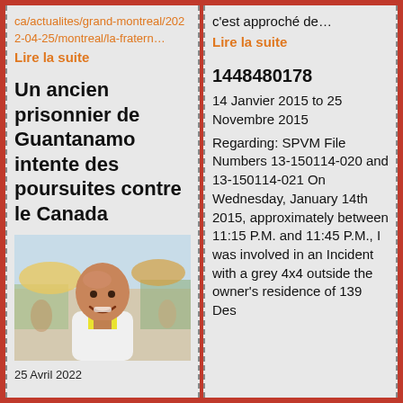ca/actualites/grand-montreal/2022-04-25/montreal/la-fratern…
Lire la suite
Un ancien prisonnier de Guantanamo intente des poursuites contre le Canada
[Figure (photo): Photo of a bald smiling man outdoors]
25 Avril 2022
c'est approché de…
Lire la suite
1448480178
14 Janvier 2015 to 25 Novembre 2015
Regarding: SPVM File Numbers 13-150114-020 and 13-150114-021 On Wednesday, January 14th 2015, approximately between 11:15 P.M. and 11:45 P.M., I was involved in an Incident with a grey 4x4 outside the owner's residence of 139 Des